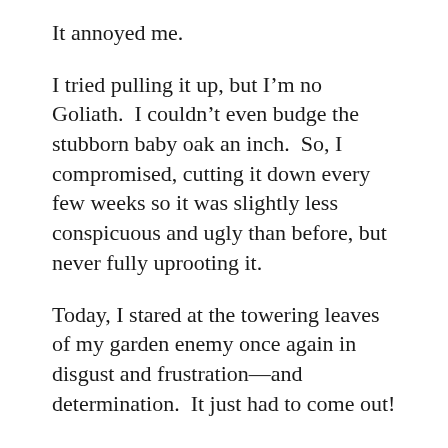It annoyed me.
I tried pulling it up, but I'm no Goliath.  I couldn't even budge the stubborn baby oak an inch.  So, I compromised, cutting it down every few weeks so it was slightly less conspicuous and ugly than before, but never fully uprooting it.
Today, I stared at the towering leaves of my garden enemy once again in disgust and frustration—and determination.  It just had to come out!
I attacked it with my shovel, digging deeper than I ever had tried before and hurting my back while yanking and twisting its roots every few minutes.
Then I realized the sad truth.  In order to dig down to disengage the tree's roots, I had to dig